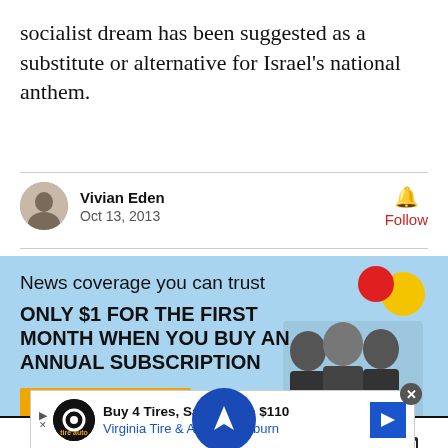socialist dream has been suggested as a substitute or alternative for Israel's national anthem.
Vivian Eden
Oct 13, 2013
[Figure (infographic): Subscription advertisement banner with light blue background showing 'News coverage you can trust', 'ONLY $1 FOR THE FIRST MONTH WHEN YOU BUY AN ANNUAL SUBSCRIPTION', a SUBSCRIBE button, and an image of three figures with colorful circle graphics]
[Figure (infographic): Social sharing toolbar with Twitter, Facebook, Haaretz logo circle, bookmark, and email icons, plus a small tire advertisement at bottom]